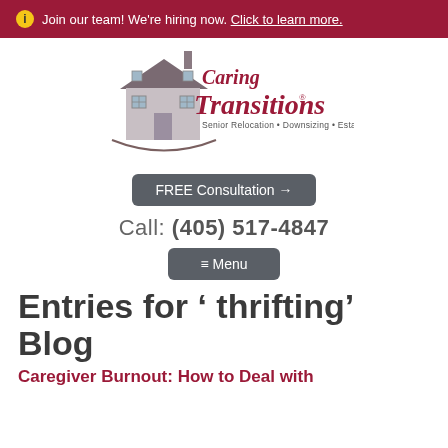ℹ Join our team! We're hiring now. Click to learn more.
[Figure (logo): Caring Transitions logo with house illustration and text 'Caring Transitions' and 'Senior Relocation • Downsizing • Estate Sales']
FREE Consultation →
Call: (405) 517-4847
≡ Menu
Entries for ' thrifting'
Blog
Caregiver Burnout: How to Deal with